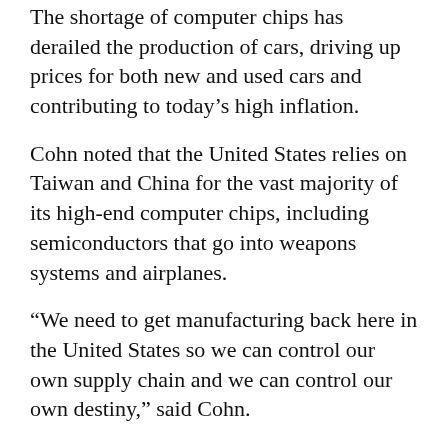The shortage of computer chips has derailed the production of cars, driving up prices for both new and used cars and contributing to today’s high inflation.
Cohn noted that the United States relies on Taiwan and China for the vast majority of its high-end computer chips, including semiconductors that go into weapons systems and airplanes.
“We need to get manufacturing back here in the United States so we can control our own supply chain and we can control our own destiny,” said Cohn.
The Senate passed legislation last summer to spend $52 billion on computer chip manufacturing and research in the United States. The funding has not yet been signed into law and lawmakers are still haggling over the details.
Earlier this month, Senators Elizabeth Warren and Bernie Sanders and Rep. Sean Casten called for “corporate guardrails” that would ensure the funding does not go